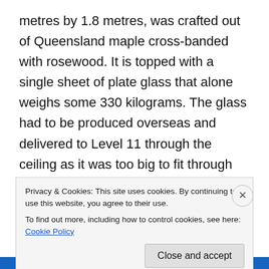metres by 1.8 metres, was crafted out of Queensland maple cross-banded with rosewood. It is topped with a single sheet of plate glass that alone weighs some 330 kilograms. The glass had to be produced overseas and delivered to Level 11 through the ceiling as it was too big to fit through any doorways or windows. And what is magical is that it has survived all of the building's refurbishments. I was also shown the fine china and ornamental pieces that are only ever used for special occasions, as well as pictures of the very first board meeting and its members. Another interesting item found
Privacy & Cookies: This site uses cookies. By continuing to use this website, you agree to their use.
To find out more, including how to control cookies, see here: Cookie Policy